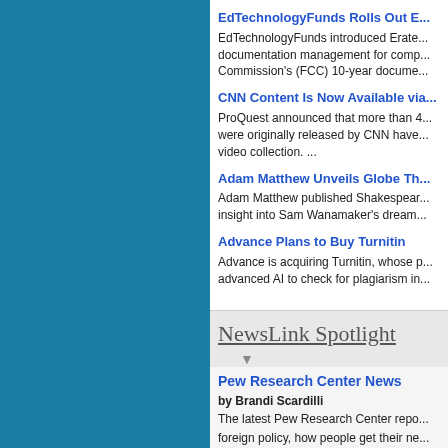EdTechnologyFunds Rolls Out E...
EdTechnologyFunds introduced Erate... documentation management for comp... Commission's (FCC) 10-year docume...
CNN Content Is Now Available via...
ProQuest announced that more than 4... were originally released by CNN have... video collection. ...
Adam Matthew Unveils Globe Th...
Adam Matthew published Shakespear... insight into Sam Wanamaker's dream...
Advance Plans to Buy Turnitin
Advance is acquiring Turnitin, whose p... advanced AI to check for plagiarism in...
NewsLink Spotlight
Pew Research Center News
by Brandi Scardilli
The latest Pew Research Center repo... foreign policy, how people get their ne...